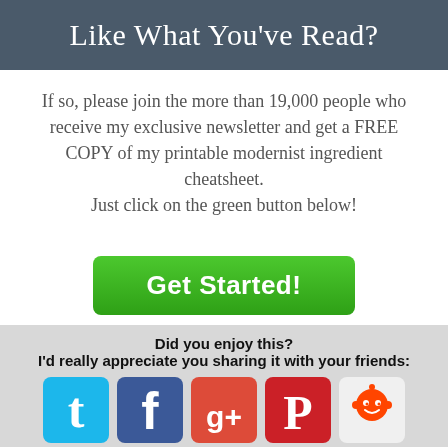Like What You've Read?
If so, please join the more than 19,000 people who receive my exclusive newsletter and get a FREE COPY of my printable modernist ingredient cheatsheet. Just click on the green button below!
[Figure (other): Green 'Get Started!' call-to-action button]
Did you enjoy this?
I'd really appreciate you sharing it with your friends:
[Figure (other): Row of social media icons: Twitter, Facebook, Google+, Pinterest, Reddit]